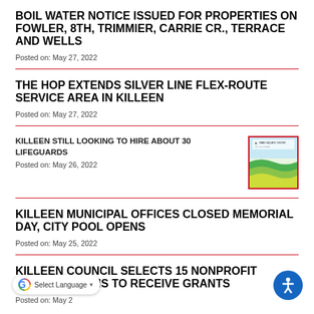BOIL WATER NOTICE ISSUED FOR PROPERTIES ON FOWLER, 8TH, TRIMMIER, CARRIE CR., TERRACE AND WELLS
Posted on: May 27, 2022
THE HOP EXTENDS SILVER LINE FLEX-ROUTE SERVICE AREA IN KILLEEN
Posted on: May 27, 2022
KILLEEN STILL LOOKING TO HIRE ABOUT 30 LIFEGUARDS
Posted on: May 26, 2022
[Figure (illustration): Thumbnail image of a Family Aquatic Center promotional graphic with green wave design]
KILLEEN MUNICIPAL OFFICES CLOSED MEMORIAL DAY, CITY POOL OPENS
Posted on: May 25, 2022
KILLEEN COUNCIL SELECTS 15 NONPROFIT ORGANIZATIONS TO RECEIVE GRANTS
Posted on: May 2